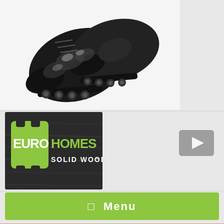[Figure (photo): Black roller blades / inline skates photographed from above on white background]
[Figure (logo): Euro Homes Solid Wood logo - green house icon with white text EURO and green text HOMES, SOLID WOOD subtitle, on dark wood grain background]
[Figure (other): YouTube play button icon in grey square]
☰  Menu
[Figure (photo): Interior of a solid wood log home showing living area with wooden beams, staircase, plants, and warm lighting]